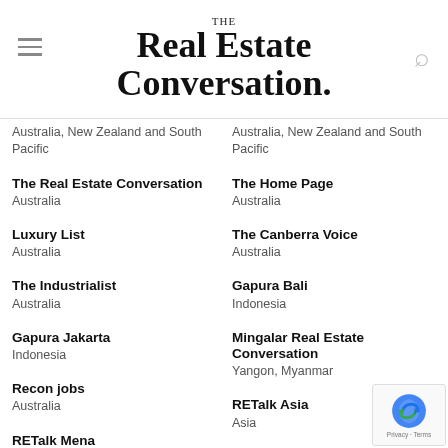THE Real Estate Conversation.
Australia, New Zealand and South Pacific (truncated top left)
Australia, New Zealand and South Pacific (truncated top right)
The Real Estate Conversation
Australia
The Home Page
Australia
Luxury List
Australia
The Canberra Voice
Australia
The Industrialist
Australia
Gapura Bali
Indonesia
Gapura Jakarta
Indonesia
Mingalar Real Estate Conversation
Yangon, Myanmar
Recon jobs
Australia
RETalk Asia
Asia
RETalk Mena
Middle East and North Africa
RETalk Malaysia
Malaysia
REthink Tokyo
Japan
The ASEAN Developer
Association of Southeast Asian Nations
Exotiq
Suay Phuket